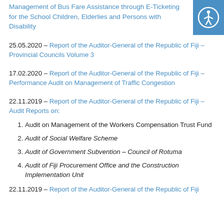Management of Bus Fare Assistance through E-Ticketing for the School Children, Elderlies and Persons with Disability
25.05.2020 – Report of the Auditor-General of the Republic of Fiji – Provincial Councils Volume 3
17.02.2020 – Report of the Auditor-General of the Republic of Fiji – Performance Audit on Management of Traffic Congestion
22.11.2019 – Report of the Auditor-General of the Republic of Fiji – Audit Reports on:
1. Audit on Management of the Workers Compensation Trust Fund
2. Audit of Social Welfare Scheme
3. Audit of Government Subvention – Council of Rotuma
4. Audit of Fiji Procurement Office and the Construction Implementation Unit
22.11.2019 – Report of the Auditor-General of the Republic of Fiji